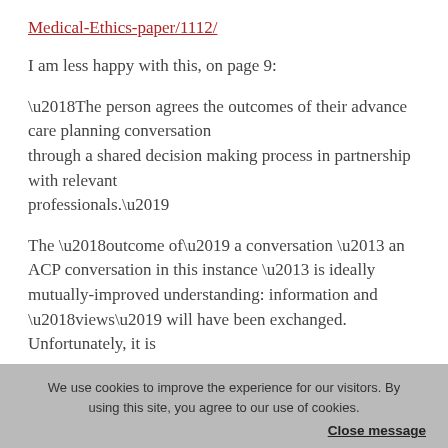Medical-Ethics-paper/1112/
I am less happy with this, on page 9:
‘The person agrees the outcomes of their advance care planning conversation through a shared decision making process in partnership with relevant professionals.’
The ‘outcome of’ a conversation – an ACP conversation in this instance – is ideally mutually-improved understanding: information and ‘views’ will have been exchanged. Unfortunately, it is
We use cookies to improve the experience for our visitors. By using this site, you agree to our use of cookies.
Close message